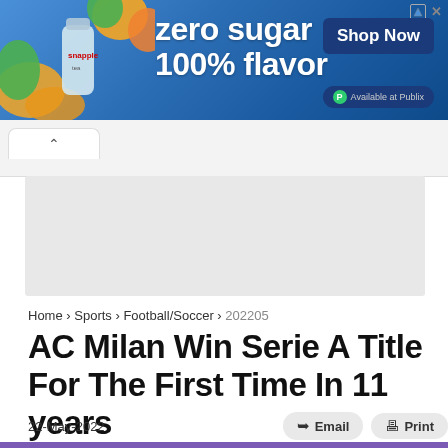[Figure (screenshot): Snapple advertisement banner with blue gradient background showing 'zero sugar 100% flavor' text, Shop Now button, and Available at Publix badge]
[Figure (screenshot): Browser UI tab bar showing a back chevron tab on gray background]
[Figure (screenshot): Gray placeholder/loading content area]
Home › Sports › Football/Soccer › 202205
AC Milan Win Serie A Title For The First Time In 11 years
22-May-2022
[Figure (photo): Bottom portion of celebratory photo showing Serie A TIM trophy and banner]